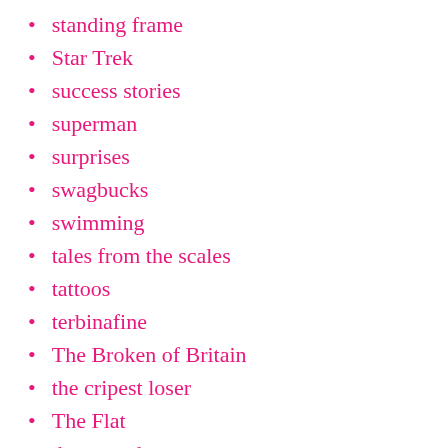standing frame
Star Trek
success stories
superman
surprises
swagbucks
swimming
tales from the scales
tattoos
terbinafine
The Broken of Britain
the cripest loser
The Flat
the r word
theatre
Things I am proud of